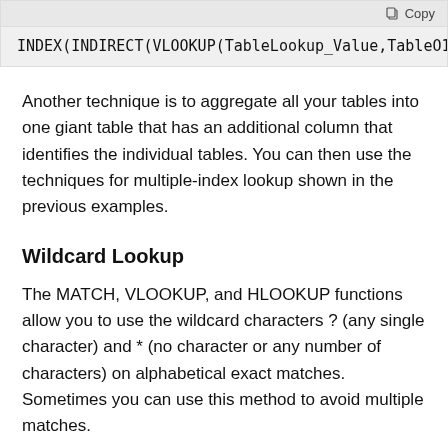[Figure (screenshot): Code box with gray header showing a Copy button and a formula: INDEX(INDIRECT(VLOOKUP(TableLookup_Value,TableO1... (truncated)]
Another technique is to aggregate all your tables into one giant table that has an additional column that identifies the individual tables. You can then use the techniques for multiple-index lookup shown in the previous examples.
Wildcard Lookup
The MATCH, VLOOKUP, and HLOOKUP functions allow you to use the wildcard characters ? (any single character) and * (no character or any number of characters) on alphabetical exact matches. Sometimes you can use this method to avoid multiple matches.